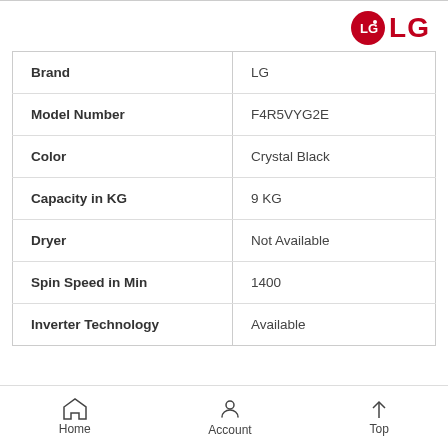[Figure (logo): LG logo with red circle and LG text in red]
|  |  |
| --- | --- |
| Brand | LG |
| Model Number | F4R5VYG2E |
| Color | Crystal Black |
| Capacity in KG | 9 KG |
| Dryer | Not Available |
| Spin Speed in Min | 1400 |
| Inverter Technology | Available |
Home   Account   Top